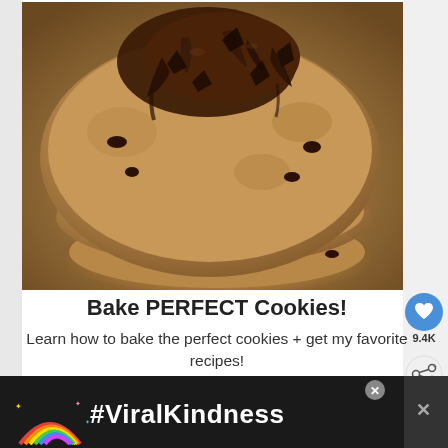[Figure (photo): Stack of chocolate chip cookies with melted chocolate chips on top, close-up photography]
Bake PERFECT Cookies!
Learn how to bake the perfect cookies + get my favorite recipes!
Your Email...
9.4K
WHAT'S NEXT → Chicken and Rice...
[Figure (infographic): Bottom advertisement bar with rainbow illustration and #ViralKindness hashtag on dark background]